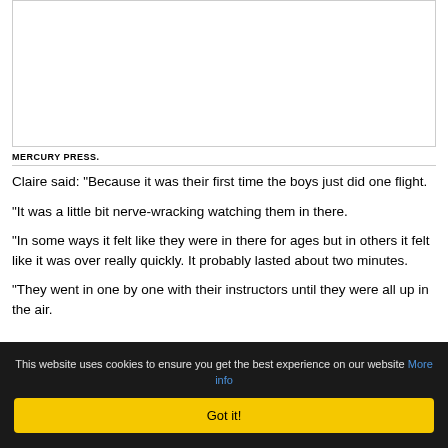[Figure (other): Empty white image placeholder box with light grey border]
MERCURY PRESS.
Claire said: "Because it was their first time the boys just did one flight.
"It was a little bit nerve-wracking watching them in there.
"In some ways it felt like they were in there for ages but in others it felt like it was over really quickly. It probably lasted about two minutes.
"They went in one by one with their instructors until they were all up in the air.
This website uses cookies to ensure you get the best experience on our website More info Got it!